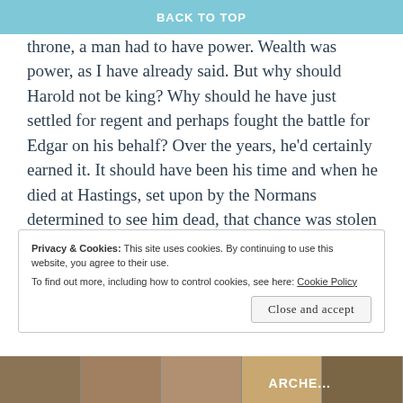BACK TO TOP
was ambitious and to be able to make a bid for the throne, a man had to have power. Wealth was power, as I have already said. But why should Harold not be king? Why should he have just settled for regent and perhaps fought the battle for Edgar on his behalf? Over the years, he'd certainly earned it. It should have been his time and when he died at Hastings, set upon by the Normans determined to see him dead, that chance was stolen from him. He died fighting for his land, his people and to keep England free of Norman enslavement. For me that is the epitome of kingship, and that is why he is on my favourite historical character list.
Privacy & Cookies: This site uses cookies. By continuing to use this website, you agree to their use.
To find out more, including how to control cookies, see here: Cookie Policy
Close and accept
[Figure (photo): Strip of medieval tapestry images at the bottom of the page, with text 'ARCHE...' visible]